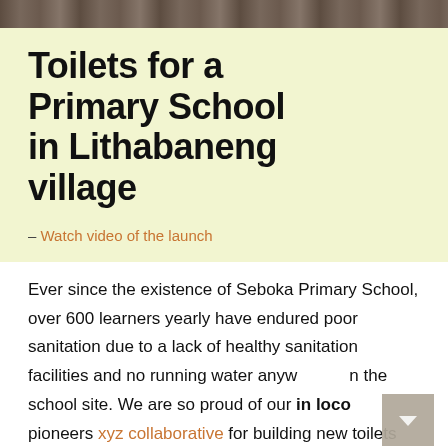[Figure (photo): Top strip showing a sandy/earthen surface, possibly a school grounds photo]
Toilets for a Primary School in Lithabaneng village
– Watch video of the launch
Ever since the existence of Seboka Primary School, over 600 learners yearly have endured poor sanitation due to a lack of healthy sanitation facilities and no running water anywhere on the school site. We are so proud of our in loco pioneers xyz collaborative for building new toilets for the learners and staff